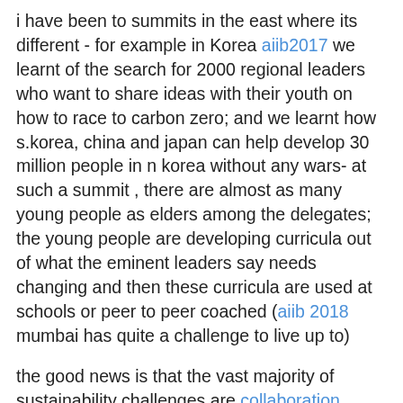i have been to summits in the east where its different - for example in Korea aiib2017 we learnt of the search for 2000 regional leaders who want to share ideas with their youth on how to race to carbon zero;  and we learnt how s.korea, china and japan can help develop 30 million people in n korea without any wars- at such a summit , there are almost as many young people as elders among the delegates; the young people are developing curricula out of what the eminent leaders say needs changing and then these curricula are used at schools or peer to peer coached (aiib 2018 mumbai has quite a challenge to live up to)
the good news is that the vast majority of sustainability challenges are collaboration challenges which need solutions served by communities around the world where the jobs and the value created stays in the communities - what our 1984 book called microfranchises
therefore in seeking partners in the sino-english speaking world record book of jobs creators, we are not too worried if most of the top jobs creators are in the east - by definition a sustainbbility goals jobs crfa etor wants to share their